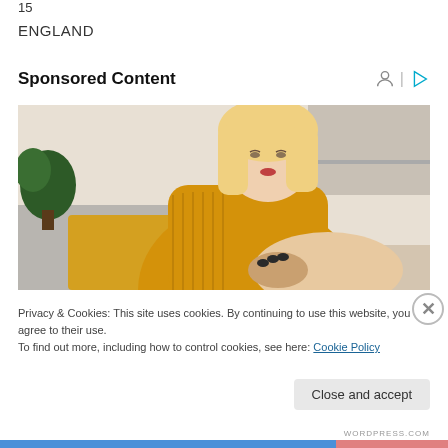15
ENGLAND
Sponsored Content
[Figure (photo): A blonde woman in a yellow knitted sweater looking down at her arm/elbow, appearing to examine or scratch it. She is seated on a couch in a living room with plants and shelves in the background.]
Privacy & Cookies: This site uses cookies. By continuing to use this website, you agree to their use.
To find out more, including how to control cookies, see here: Cookie Policy
Close and accept